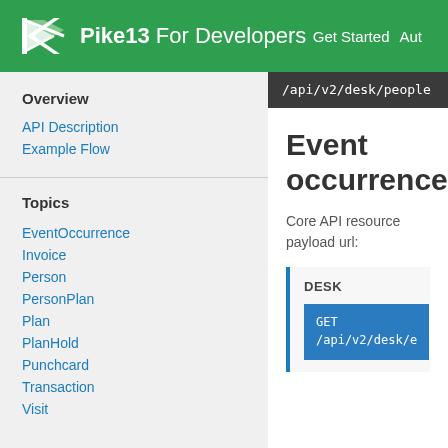Pike13 For Developers  Get Started  Aut
Overview
API Description
Example Flow
Topics
EventOccurrence
Invoice
Person
PersonPlan
Plan
PlanHold
Punchcard
Transaction
Visit
/api/v2/desk/people
Event occurrence
Core API resource payload url:
DESK
GET /api/v2/desk/e